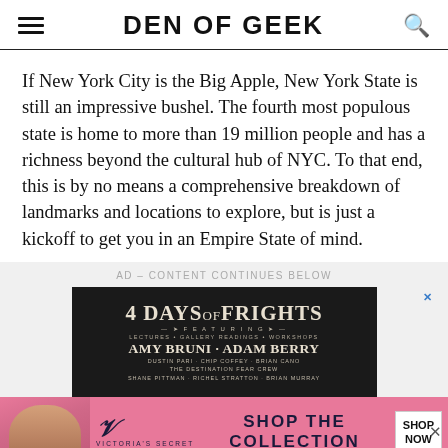DEN OF GEEK
If New York City is the Big Apple, New York State is still an impressive bushel. The fourth most populous state is home to more than 19 million people and has a richness beyond the cultural hub of NYC. To that end, this is by no means a comprehensive breakdown of landmarks and locations to explore, but is just a kickoff to get you in an Empire State of mind.
[Figure (screenshot): Advertisement banner for '4 Days of Frights' event featuring Amy Bruni, Adam Berry, Dustin Pari, Chip Coffey, Brian Cano, The Destination Fear Crew, Shane Pittman, Richel Stratton, Brian Murray. Dark background with vintage poster style typography. Below it is a Victoria's Secret 'Shop the Collection' ad banner with a woman's photo, the VS logo, and a 'Shop Now' button.]